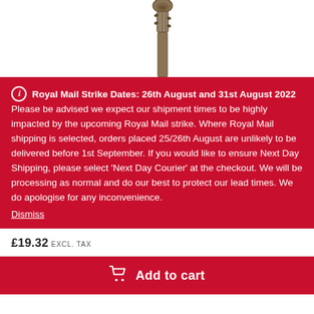[Figure (photo): Partial image of the neck/scroll of a cello or double bass instrument on a white background]
ℹ Royal Mail Strike Dates: 26th August and 31st August 2022 Please be advised we expect our shipment times to be highly impacted by the upcoming Royal Mail strike. Where Royal Mail shipping is selected, orders placed 25/26th August are unlikely to be delivered before 1st September. If you would like to ensure Next Day Shipping, please select 'Next Day Courier' at the checkout. We will be processing as normal and do our best to protect our lead times. We do apologise for any inconvenience.
Dismiss
£19.32 EXCL. TAX
Add to cart